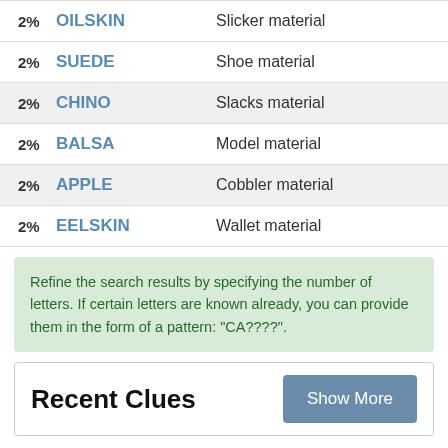2% OILSKIN Slicker material
2% SUEDE Shoe material
2% CHINO Slacks material
2% BALSA Model material
2% APPLE Cobbler material
2% EELSKIN Wallet material
Refine the search results by specifying the number of letters. If certain letters are known already, you can provide them in the form of a pattern: "CA?????".
Recent Clues